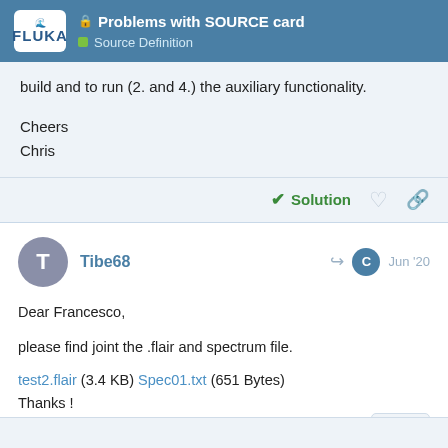Problems with SOURCE card — Source Definition
build and to run (2. and 4.) the auxiliary functionality.
Cheers
Chris
Solution
Tibe68 — Jun '20
Dear Francesco,

please find joint the .flair and spectrum file.
test2.flair (3.4 KB) Spec01.txt (651 Bytes)
Thanks !